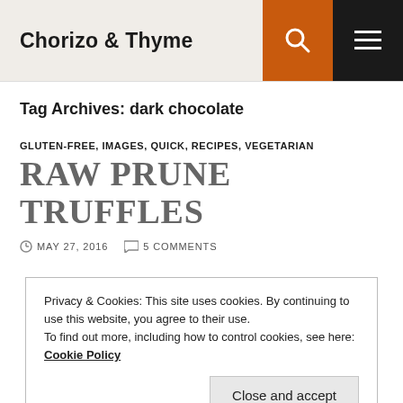Chorizo & Thyme
Tag Archives: dark chocolate
GLUTEN-FREE, IMAGES, QUICK, RECIPES, VEGETARIAN
RAW PRUNE TRUFFLES
MAY 27, 2016  5 COMMENTS
Privacy & Cookies: This site uses cookies. By continuing to use this website, you agree to their use.
To find out more, including how to control cookies, see here: Cookie Policy
[Figure (photo): Bottom strip showing a dark chocolate truffle photo]